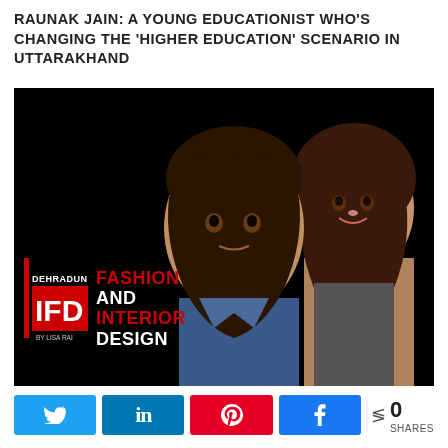RAUNAK JAIN: A YOUNG EDUCATIONIST WHO'S CHANGING THE 'HIGHER EDUCATION' SCENARIO IN UTTARAKHAND
[Figure (photo): Promotional photo for Dehradun Fashion and Interior Design (DFID) by Lisa Rai, showing a man and woman against a black background with the institute logo and text 'FASHION AND INTERIOR DESIGN' in red and white lettering.]
Twitter share button, LinkedIn share button, Pinterest share button, Facebook share button, 0 SHARES